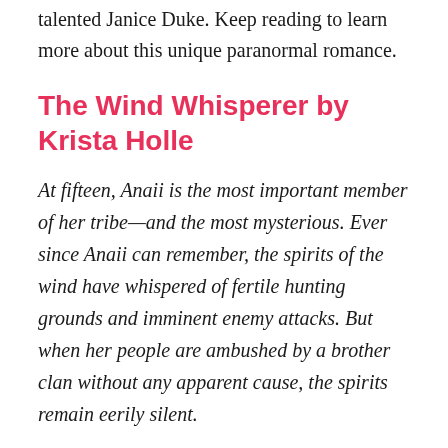talented Janice Duke. Keep reading to learn more about this unique paranormal romance.
The Wind Whisperer by Krista Holle
At fifteen, Anaii is the most important member of her tribe—and the most mysterious. Ever since Anaii can remember, the spirits of the wind have whispered of fertile hunting grounds and imminent enemy attacks. But when her people are ambushed by a brother clan without any apparent cause, the spirits remain eerily silent.
As the will power parents to distort Anaii's